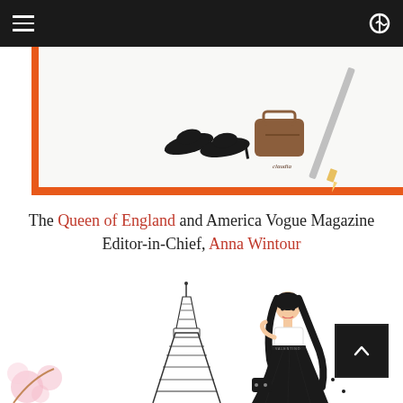Navigation bar with hamburger menu
[Figure (illustration): Partial illustration showing black heels and a handbag on a white background with orange border, and a pencil to the right]
The Queen of England and America Vogue Magazine Editor-in-Chief, Anna Wintour
[Figure (illustration): Fashion illustration of a woman with long black hair wearing a white crop top and black skirt, standing in front of the Eiffel Tower with pink cherry blossoms at the lower left]